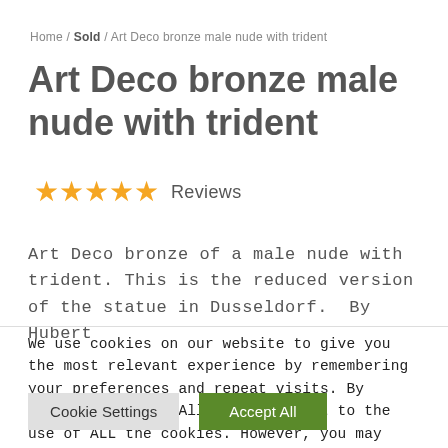Home / Sold / Art Deco bronze male nude with trident
Art Deco bronze male nude with trident
★★★★★ Reviews
Art Deco bronze of a male nude with trident. This is the reduced version of the statue in Dusseldorf.  By Hubert
We use cookies on our website to give you the most relevant experience by remembering your preferences and repeat visits. By clicking "Accept All", you consent to the use of ALL the cookies. However, you may visit "Cookie Settings" to provide a controlled consent.